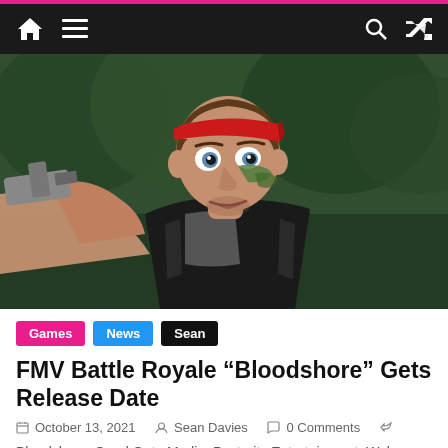Navigation bar with home, menu, search, and shuffle icons
[Figure (photo): A man wearing a red bandana headband and black tactical vest with camouflage face paint, pointing a gun toward the camera, outdoors with blurred green trees in the background.]
Games  News  Sean
FMV Battle Royale “Bloodshore” Gets Release Date
October 13, 2021  Sean Davies  0 Comments
Bloodshore, Good Gate Media, Posterity Entertainment, Wales Interactive, Wayout Pictures